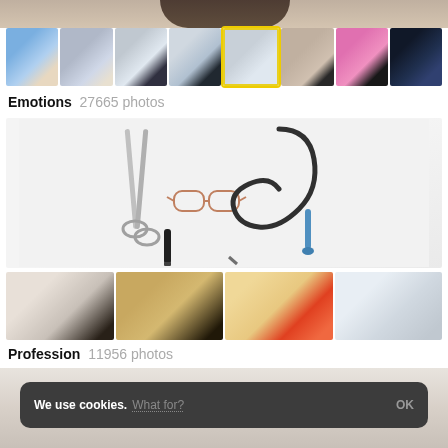[Figure (photo): Top partial view of a person's head (dark hair), cropped by page boundary]
[Figure (photo): Row of 8 small portrait thumbnails showing people with various emotions]
Emotions  27665 photos
[Figure (photo): Large photo of medical tools laid flat: surgical scissors/forceps, stethoscope, eyeglasses, syringe, magnifying glass on white background]
[Figure (photo): Row of 4 thumbnails showing people in various professions: patient in bed, bearded man in chair, person in costume, bathroom scene]
Profession  11956 photos
[Figure (screenshot): Cookie consent banner reading 'We use cookies. What for? OK' on dark rounded rectangle overlaid on blurred light interior background]